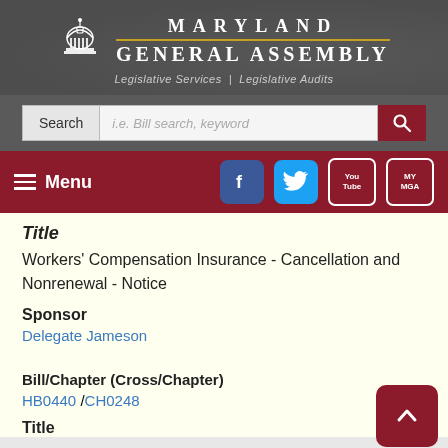MARYLAND GENERAL ASSEMBLY
Legislative Services | Legislative Audits
[Figure (screenshot): Search bar with label 'Search', placeholder 'i.e. Bill search, keyword', and a dark red search button with magnifying glass icon]
[Figure (screenshot): Navigation bar with hamburger Menu button on left and social media icons (Facebook, Twitter, YouTube, MY MGA) on right, on dark red background]
Title
Workers' Compensation Insurance - Cancellation and Nonrenewal - Notice
Sponsor
Delegate Jameson
Bill/Chapter (Cross/Chapter)
HB0440 /CH0248
Title